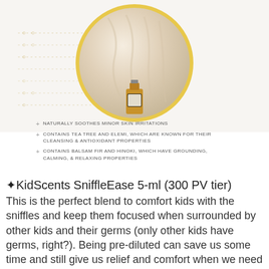[Figure (photo): A circular image with golden border showing a cozy cream/white textured fabric or blanket with a small essential oil bottle in front, set against a light background with decorative dotted lines.]
NATURALLY SOOTHES MINOR SKIN IRRITATIONS
CONTAINS TEA TREE AND ELEMI, WHICH ARE KNOWN FOR THEIR CLEANSING & ANTIOXIDANT PROPERTIES
CONTAINS BALSAM FIR AND HINOKI, WHICH HAVE GROUNDING, CALMING, & RELAXING PROPERTIES
✦KidScents SniffleEase 5-ml (300 PV tier)
This is the perfect blend to comfort kids with the sniffles and keep them focused when surrounded by other kids and their germs (only other kids have germs, right?). Being pre-diluted can save us some time and still give us relief and comfort when we need it.
• Can be diffused or applied directly to chests or throats.